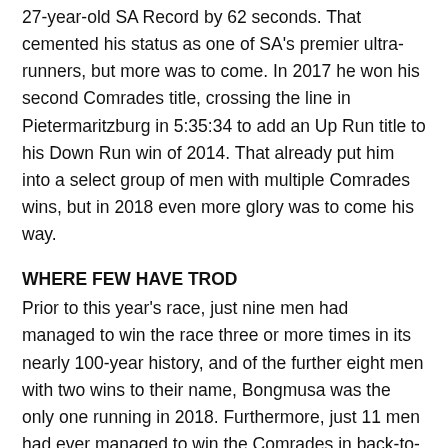27-year-old SA Record by 62 seconds. That cemented his status as one of SA's premier ultra-runners, but more was to come. In 2017 he won his second Comrades title, crossing the line in Pietermaritzburg in 5:35:34 to add an Up Run title to his Down Run win of 2014. That already put him into a select group of men with multiple Comrades wins, but in 2018 even more glory was to come his way.
WHERE FEW HAVE TROD
Prior to this year's race, just nine men had managed to win the race three or more times in its nearly 100-year history, and of the further eight men with two wins to their name, Bongmusa was the only one running in 2018. Furthermore, just 11 men had ever managed to win the Comrades in back-to-back years, and there again Bongmusa was the only man in this year's field in the position to do so, the record Hennie for the scaffold